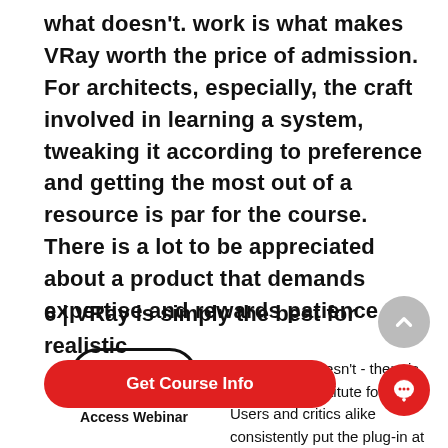what doesn't. work is what makes VRay worth the price of admission. For architects, especially, the craft involved in learning a system, tweaking it according to preference and getting the most out of a resource is par for the course. There is a lot to be appreciated about a product that demands expertise and rewards patience.
6 | VRay is simply the best for realistic
[Figure (other): LIVE Access Webinar badge - oval bordered badge with bold LIVE text and Access Webinar label below]
t - and who doesn't - there is simply no substitute for VRay. Users and critics alike consistently put the plug-in at the top of the list as the end product. The cleanest textures, darkest darks and brightest whites
[Figure (other): Red rounded rectangle button labeled Get Course Info]
[Figure (other): Red circle chat icon button in bottom right corner]